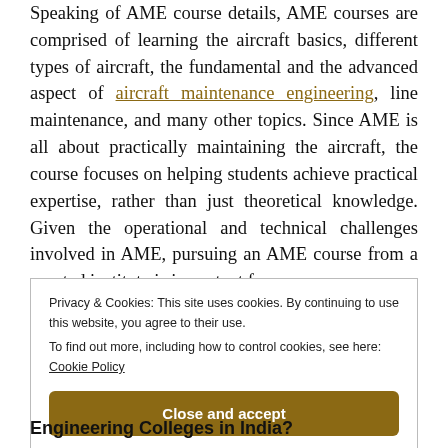Speaking of AME course details, AME courses are comprised of learning the aircraft basics, different types of aircraft, the fundamental and the advanced aspect of aircraft maintenance engineering, line maintenance, and many other topics. Since AME is all about practically maintaining the aircraft, the course focuses on helping students achieve practical expertise, rather than just theoretical knowledge. Given the operational and technical challenges involved in AME, pursuing an AME course from a reputed institute is important from
Privacy & Cookies: This site uses cookies. By continuing to use this website, you agree to their use.
To find out more, including how to control cookies, see here: Cookie Policy
[Close and accept]
Engineering Colleges in India?